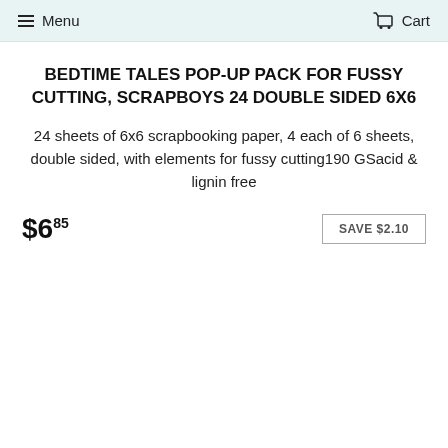Menu  Cart
BEDTIME TALES POP-UP PACK FOR FUSSY CUTTING, SCRAPBOYS 24 DOUBLE SIDED 6X6
24 sheets of 6x6 scrapbooking paper, 4 each of 6 sheets, double sided, with elements for fussy cutting190 GSacid & lignin free
$6.85  SAVE $2.10